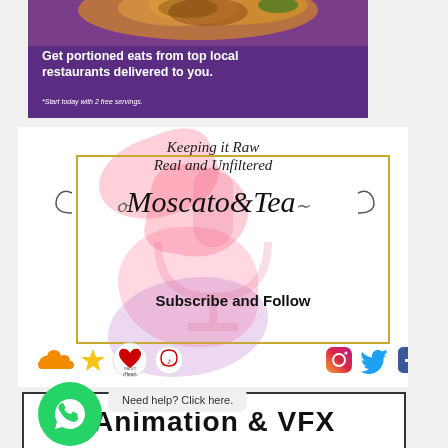[Figure (illustration): Purple food delivery advertisement banner with food image on top, white bold text reading 'Get portioned eats from top local restaurants delivered to you.' and smaller italic text '*Start today with 2 free servings.']
[Figure (illustration): Moscato & Tea podcast promotional graphic with pink and purple watercolor splashes, gold rectangle border, italic text 'Keeping it Raw Real and Unfiltered', large stylized script 'Moscato&Tea', bold text 'Subscribe and Follow', and social media platform icons (SoundCloud, iHeart, Apple Music, Instagram, Twitter, Facebook)]
Need help? Click here.
[Figure (illustration): WhatsApp circular button (green with phone icon) overlaid on the bottom section]
Animation & VFX